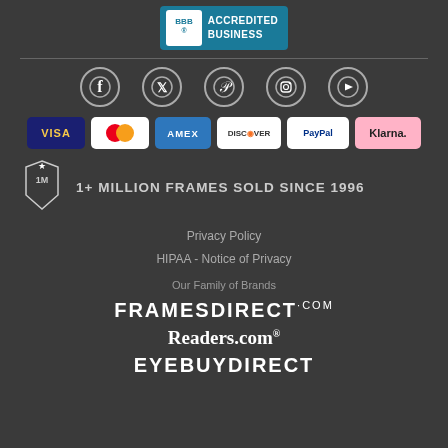[Figure (logo): BBB Accredited Business badge with teal background]
[Figure (infographic): Social media icons: Facebook, Twitter, Pinterest, Instagram, YouTube]
[Figure (infographic): Payment method logos: VISA, MasterCard, AMEX, DISCOVER, PayPal, Klarna]
[Figure (logo): 1M badge icon with star - 1+ MILLION FRAMES SOLD SINCE 1996]
1+ MILLION FRAMES SOLD SINCE 1996
Privacy Policy
HIPAA - Notice of Privacy
Our Family of Brands
[Figure (logo): FRAMESDIRECT.COM logo]
[Figure (logo): Readers.com logo]
[Figure (logo): EYEBUYDIRECT logo]